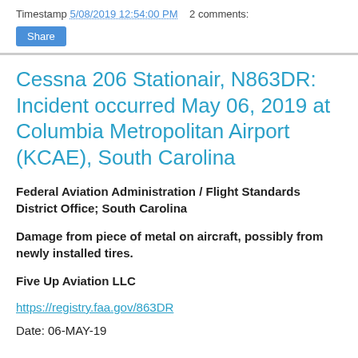Timestamp 5/08/2019 12:54:00 PM  2 comments:
Share
Cessna 206 Stationair, N863DR: Incident occurred May 06, 2019 at Columbia Metropolitan Airport (KCAE), South Carolina
Federal Aviation Administration / Flight Standards District Office; South Carolina
Damage from piece of metal on aircraft, possibly from newly installed tires.
Five Up Aviation LLC
https://registry.faa.gov/863DR
Date: 06-MAY-19